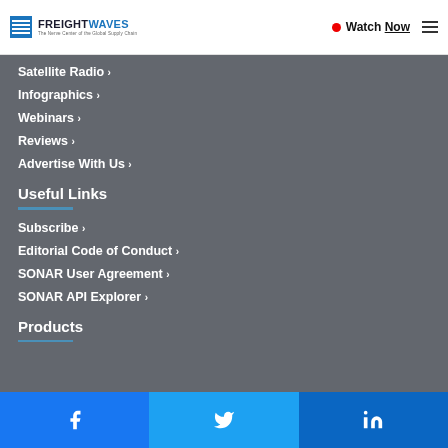FreightWaves — The Nerve Center of the Global Supply Chain | Watch Now
Satellite Radio ›
Infographics ›
Webinars ›
Reviews ›
Advertise With Us ›
Useful Links
Subscribe ›
Editorial Code of Conduct ›
SONAR User Agreement ›
SONAR API Explorer ›
Products
Facebook | Twitter | LinkedIn